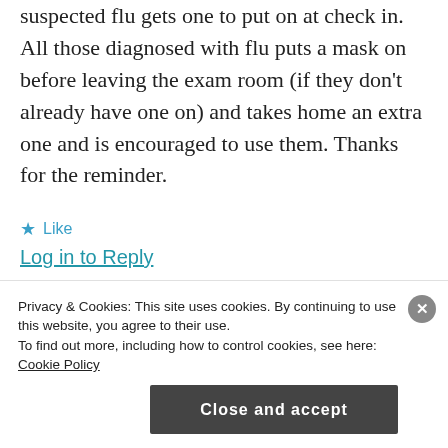suspected flu gets one to put on at check in. All those diagnosed with flu puts a mask on before leaving the exam room (if they don't already have one on) and takes home an extra one and is encouraged to use them. Thanks for the reminder.
★ Like
Log in to Reply
Advertisements
[Figure (illustration): Blue advertisement banner showing three circular icons: a notebook, a person with headphones, and a document/list, on a light blue background with small decorative dots/plus signs.]
Privacy & Cookies: This site uses cookies. By continuing to use this website, you agree to their use. To find out more, including how to control cookies, see here: Cookie Policy
Close and accept